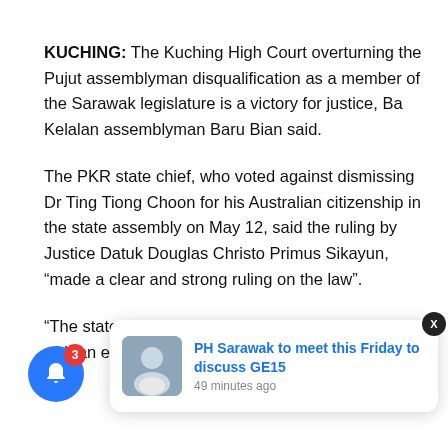KUCHING: The Kuching High Court overturning the Pujut assemblyman disqualification as a member of the Sarawak legislature is a victory for justice, Ba Kelalan assemblyman Baru Bian said.
The PKR state chief, who voted against dismissing Dr Ting Tiong Choon for his Australian citizenship in the state assembly on May 12, said the ruling by Justice Datuk Douglas Christo Primus Sikayun, “made a clear and strong ruling on the law”.
“The state assembly has no express powers to deal with an election result.”
[Figure (screenshot): Notification popup showing article: 'PH Sarawak to meet this Friday to discuss GE15' posted 49 minutes ago, with a thumbnail photo of a man in white shirt. A blue notification bell button with red badge showing '3' is visible at bottom left.]